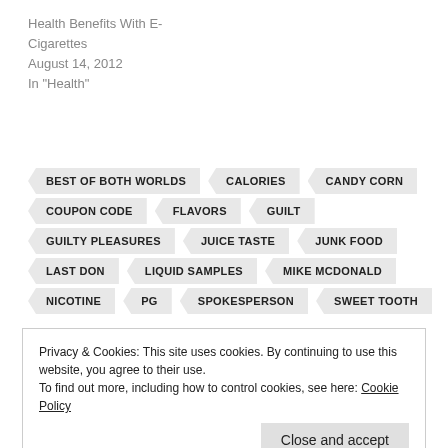Health Benefits With E-Cigarettes
August 14, 2012
In "Health"
BEST OF BOTH WORLDS
CALORIES
CANDY CORN
COUPON CODE
FLAVORS
GUILT
GUILTY PLEASURES
JUICE TASTE
JUNK FOOD
LAST DON
LIQUID SAMPLES
MIKE MCDONALD
NICOTINE
PG
SPOKESPERSON
SWEET TOOTH
Privacy & Cookies: This site uses cookies. By continuing to use this website, you agree to their use.
To find out more, including how to control cookies, see here: Cookie Policy
Close and accept